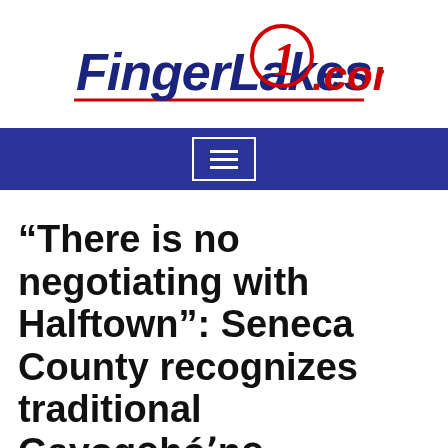[Figure (logo): FingerLakes1.com logo with red circle containing the number 1, blue italic bold text 'FingerLakes' and red '.com', underlined]
[Figure (other): Dark blue navigation bar with a white-bordered hamburger menu icon in the center]
“There is no negotiating with Halftown”: Seneca County recognizes traditional Gayogọ̲hóʻnọ̲ sovereignty after Rule 29